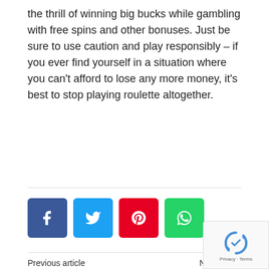the thrill of winning big bucks while gambling with free spins and other bonuses. Just be sure to use caution and play responsibly – if you ever find yourself in a situation where you can't afford to lose any more money, it's best to stop playing roulette altogether.
[Figure (other): Social share buttons: Facebook (blue), Twitter (light blue), Pinterest (red), WhatsApp (green)]
Previous article    Next article